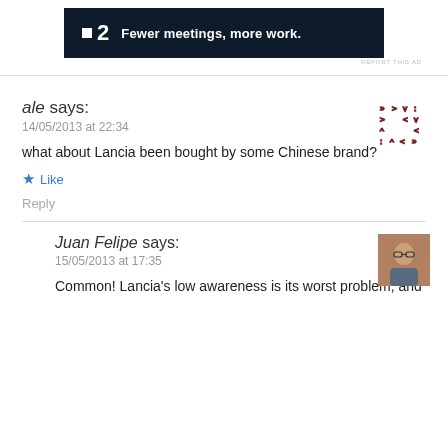[Figure (other): Advertisement banner for a service with logo square icon, number 2, and tagline 'Fewer meetings, more work.' on dark navy background]
REPORT THIS AD
ale says:
14/05/2013 at 22:34
what about Lancia been bought by some Chinese brand?
★ Like
Reply
Juan Felipe says:
15/05/2013 at 17:35
Common! Lancia's low awareness is its worst problem, and